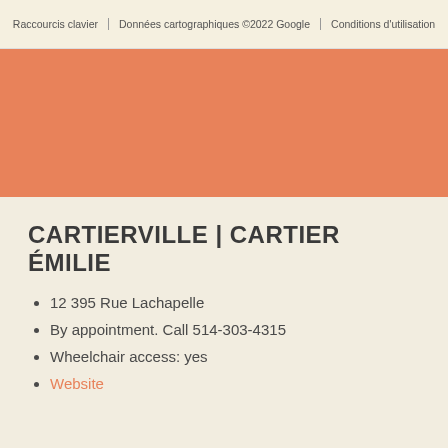[Figure (screenshot): Bottom strip of a Google Maps embed showing map credits: Raccourcis clavier | Données cartographiques ©2022 Google | Conditions d'utilisation]
Raccourcis clavier | Données cartographiques ©2022 Google | Conditions d'utilisation
[Figure (other): Solid orange/salmon colored decorative band]
CARTIERVILLE | CARTIER ÉMILIE
12 395 Rue Lachapelle
By appointment. Call 514-303-4315
Wheelchair access: yes
Website